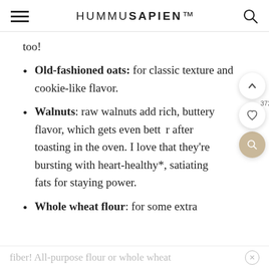HUMMUSAPIEN
too!
Old-fashioned oats: for classic texture and cookie-like flavor.
Walnuts: raw walnuts add rich, buttery flavor, which gets even better after toasting in the oven. I love that they're bursting with heart-healthy*, satiating fats for staying power.
Whole wheat flour: for some extra
fiber! All-purpose flour or whole wheat